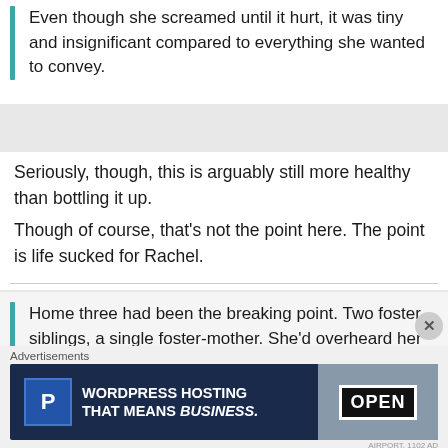Even though she screamed until it hurt, it was tiny and insignificant compared to everything she wanted to convey.
Seriously, though, this is arguably still more healthy than bottling it up.
Though of course, that’s not the point here. The point is life sucked for Rachel.
Home three had been the breaking point. Two foster siblings, a single foster-mother. She’d overheard her caseworker saying that the new foster-mother would be a disciplinarian, the only person that might be able to turn Rachel
[Figure (screenshot): Advertisement banner for WordPress Hosting with dark blue background, P logo, text 'WORDPRESS HOSTING THAT MEANS BUSINESS.' and an OPEN sign image on the right]